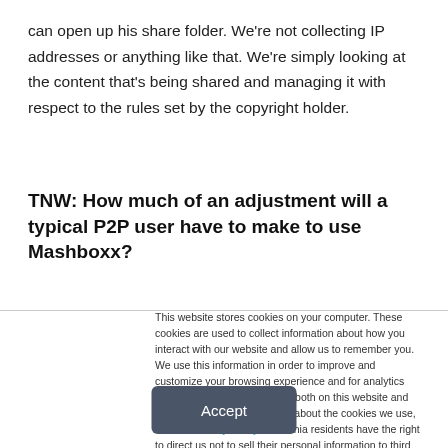can open up his share folder. We're not collecting IP addresses or anything like that. We're simply looking at the content that's being shared and managing it with respect to the rules set by the copyright holder.
TNW: How much of an adjustment will a typical P2P user have to make to use Mashboxx?
This website stores cookies on your computer. These cookies are used to collect information about how you interact with our website and allow us to remember you. We use this information in order to improve and customize your browsing experience and for analytics and metrics about our visitors both on this website and other media. To find out more about the cookies we use, see our Privacy Policy. California residents have the right to direct us not to sell their personal information to third parties by filing an Opt-Out Request: Do Not Sell My Personal Info.